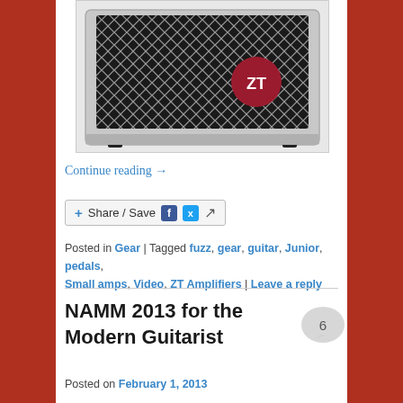[Figure (photo): ZT amplifier/guitar amp with black diamond mesh grille and red ZT logo badge, silver housing]
Continue reading →
[Figure (other): Share / Save button with Facebook, Twitter, and generic share icons]
Posted in Gear | Tagged fuzz, gear, guitar, Junior, pedals, Small amps, Video, ZT Amplifiers | Leave a reply
NAMM 2013 for the Modern Guitarist
Posted on February 1, 2013